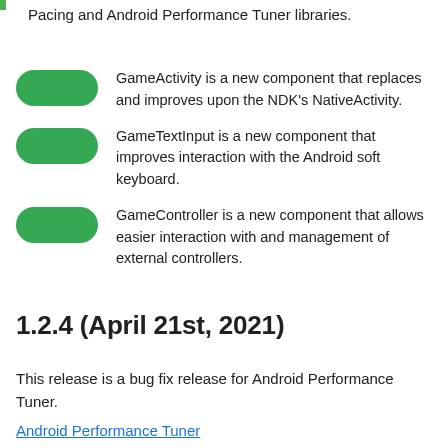Pacing and Android Performance Tuner libraries.
GameActivity is a new component that replaces and improves upon the NDK's NativeActivity.
GameTextInput is a new component that improves interaction with the Android soft keyboard.
GameController is a new component that allows easier interaction with and management of external controllers.
1.2.4 (April 21st, 2021)
This release is a bug fix release for Android Performance Tuner.
Android Performance Tuner